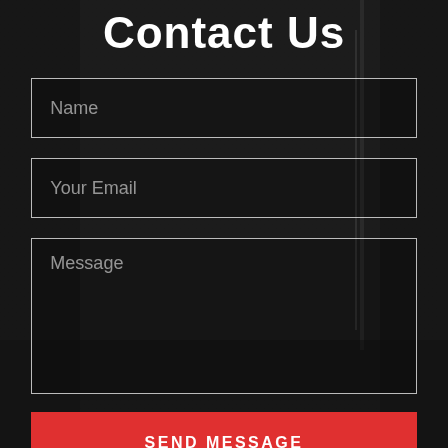Contact Us
Name
Your Email
Message
SEND MESSAGE